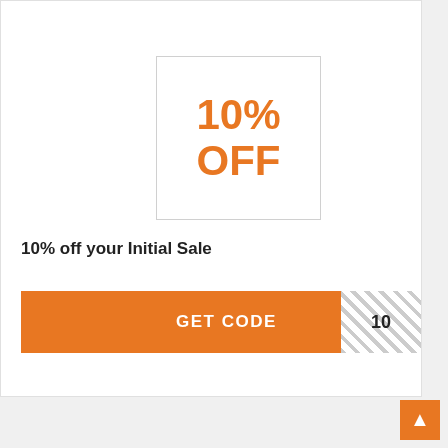[Figure (infographic): Orange bold text showing 10% OFF inside a bordered white box]
10% off your Initial Sale
GET CODE  10